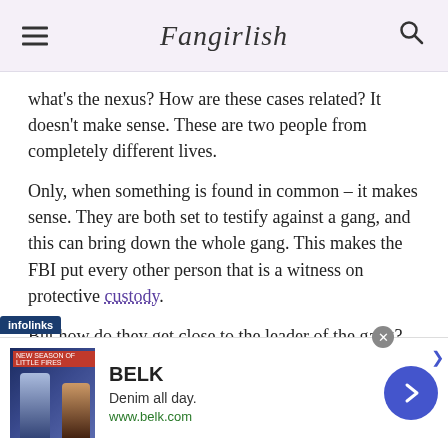Fangirlish
what's the nexus? How are these cases related? It doesn't make sense. These are two people from completely different lives.
Only, when something is found in common – it makes sense. They are both set to testify against a gang, and this can bring down the whole gang. This makes the FBI put every other person that is a witness on protective custody.
But how do they get close to the leader of the gang? Well, they have found an in, but if we're being honest,
[Figure (screenshot): BELK advertisement banner: 'Denim all day. www.belk.com' with infolinks tag and navigation arrow]